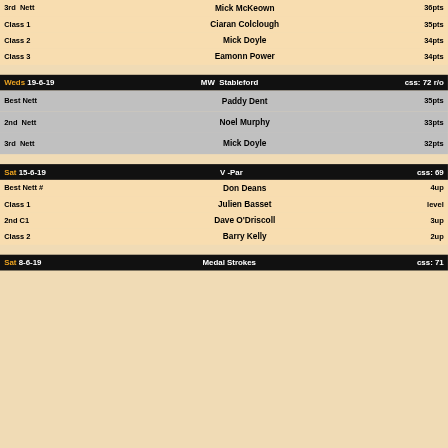| Category | Name | Score |
| --- | --- | --- |
| 3rd  Nett | Mick McKeown | 36pts |
| Class 1 | Ciaran Colclough | 35pts |
| Class 2 | Mick Doyle | 34pts |
| Class 3 | Eamonn Power | 34pts |
Weds 19-6-19   MW Stableford   css: 72 r/o
| Category | Name | Score |
| --- | --- | --- |
| Best Nett | Paddy Dent | 35pts |
| 2nd  Nett | Noel Murphy | 33pts |
| 3rd  Nett | Mick Doyle | 32pts |
Sat 15-6-19   V -Par   css: 69
| Category | Name | Score |
| --- | --- | --- |
| Best Nett # | Don Deans | 4up |
| Class 1 | Julien Basset | level |
| 2nd C1 | Dave O'Driscoll | 3up |
| Class 2 | Barry Kelly | 2up |
Sat 8-6-19   Medal Strokes   css: 71